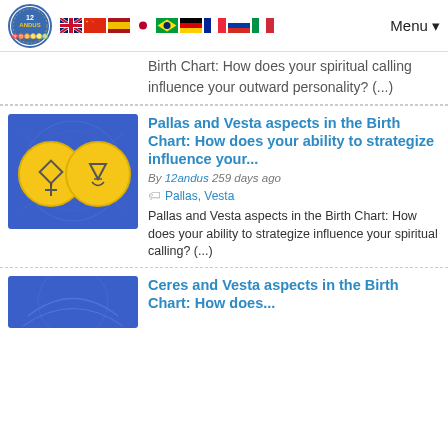12andus — flags — Menu
Birth Chart: How does your spiritual calling influence your outward personality? (...)
[Figure (illustration): Blue background illustration with two yellow circles containing astrological symbols for Pallas and Vesta]
Pallas and Vesta aspects in the Birth Chart: How does your ability to strategize influence your...
By 12andus 259 days ago
Pallas, Vesta
Pallas and Vesta aspects in the Birth Chart: How does your ability to strategize influence your spiritual calling? (...)
[Figure (illustration): Blue background illustration — partial view, Ceres and Vesta article thumbnail]
Ceres and Vesta aspects in the Birth Chart: How does...